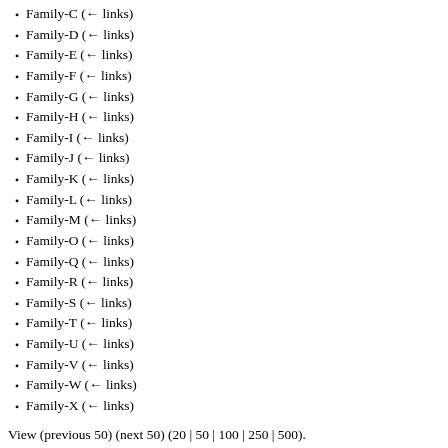Family-C  (← links)
Family-D  (← links)
Family-E  (← links)
Family-F  (← links)
Family-G  (← links)
Family-H  (← links)
Family-I  (← links)
Family-J  (← links)
Family-K  (← links)
Family-L  (← links)
Family-M  (← links)
Family-O  (← links)
Family-Q  (← links)
Family-R  (← links)
Family-S  (← links)
Family-T  (← links)
Family-U  (← links)
Family-V  (← links)
Family-W  (← links)
Family-X  (← links)
View (previous 50) (next 50) (20 | 50 | 100 | 250 | 500).
Retrieved from
"http://theodorepayne.org/nativeplantdatabase/index.php?